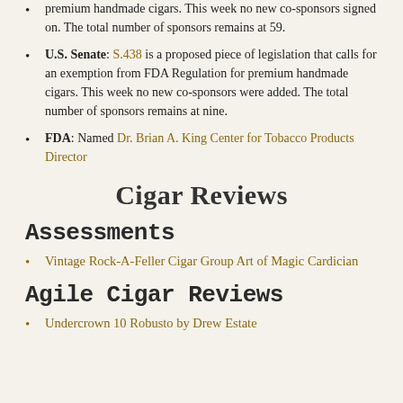premium handmade cigars. This week no new co-sponsors signed on. The total number of sponsors remains at 59.
U.S. Senate: S.438 is a proposed piece of legislation that calls for an exemption from FDA Regulation for premium handmade cigars. This week no new co-sponsors were added. The total number of sponsors remains at nine.
FDA: Named Dr. Brian A. King Center for Tobacco Products Director
Cigar Reviews
Assessments
Vintage Rock-A-Feller Cigar Group Art of Magic Cardician
Agile Cigar Reviews
Undercrown 10 Robusto by Drew Estate